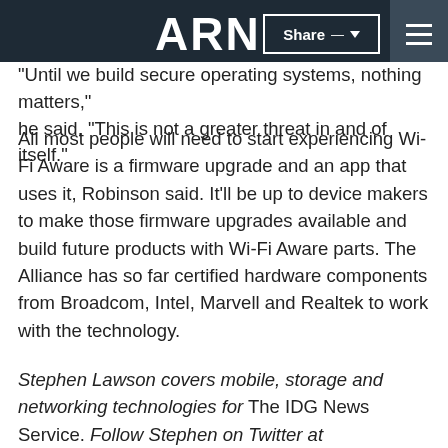ARN
"Until we build secure operating systems, nothing matters," he said. "This is not a greater threat in and of itself."
All most people will need to start experiencing Wi-Fi Aware is a firmware upgrade and an app that uses it, Robinson said. It'll be up to device makers to make those firmware upgrades available and build future products with Wi-Fi Aware parts. The Alliance has so far certified hardware components from Broadcom, Intel, Marvell and Realtek to work with the technology.
Stephen Lawson covers mobile, storage and networking technologies for The IDG News Service. Follow Stephen on Twitter at @sdlawsonmedia. Stephen's e-mail address is stephen_lawson@idg.com